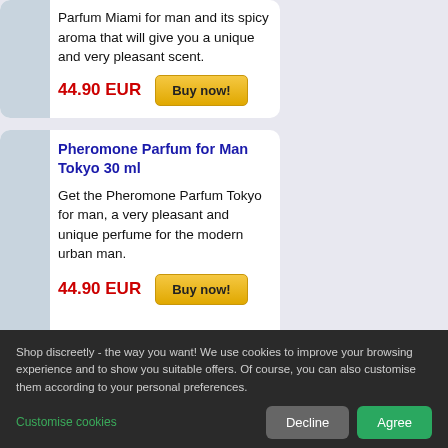Parfum Miami for man and its spicy aroma that will give you a unique and very pleasant scent.
44.90 EUR
Buy now!
Pheromone Parfum for Man Tokyo 30 ml
Get the Pheromone Parfum Tokyo for man, a very pleasant and unique perfume for the modern urban man.
44.90 EUR
Buy now!
Shop discreetly - the way you want! We use cookies to improve your browsing experience and to show you suitable offers. Of course, you can also customise them according to your personal preferences.
Customise cookies
Decline
Agree